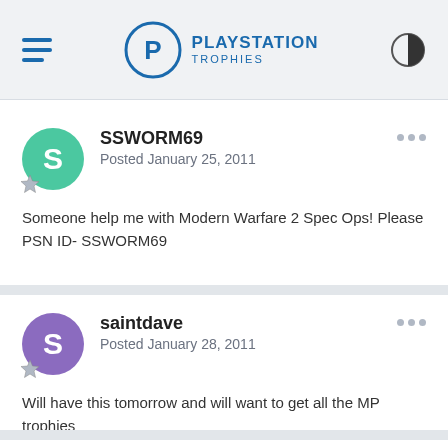PlayStation Trophies
SSWORM69
Posted January 25, 2011
Someone help me with Modern Warfare 2 Spec Ops! Please
PSN ID- SSWORM69
saintdave
Posted January 28, 2011
Will have this tomorrow and will want to get all the MP trophies done straight away. Be on most days/times, add me saintdave-
Darc